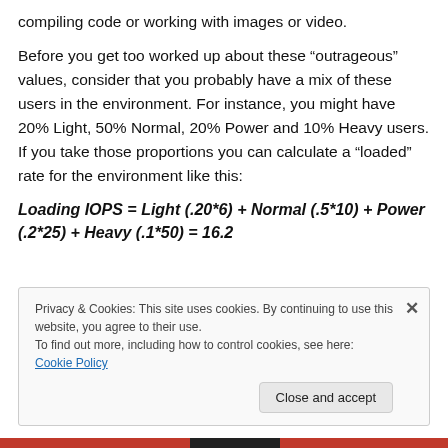compiling code or working with images or video.
Before you get too worked up about these “outrageous” values, consider that you probably have a mix of these users in the environment. For instance, you might have 20% Light, 50% Normal, 20% Power and 10% Heavy users. If you take those proportions you can calculate a “loaded” rate for the environment like this:
Privacy & Cookies: This site uses cookies. By continuing to use this website, you agree to their use. To find out more, including how to control cookies, see here: Cookie Policy
Close and accept